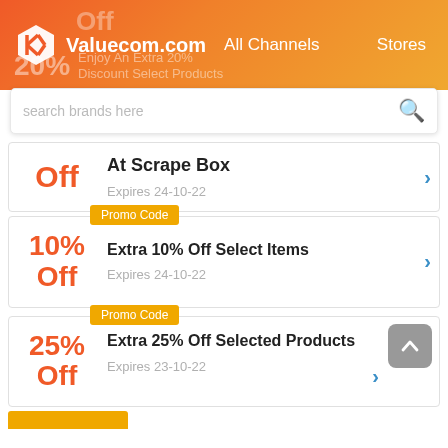[Figure (screenshot): Valuecom.com website header with logo, All Channels and Stores navigation on orange-red gradient background]
search brands here
Enjoy An Extra 20% Discount Select Products
Off
At Scrape Box
Expires 24-10-22
Promo Code
10% Off
Extra 10% Off Select Items
Expires 24-10-22
Promo Code
25% Off
Extra 25% Off Selected Products
Expires 23-10-22